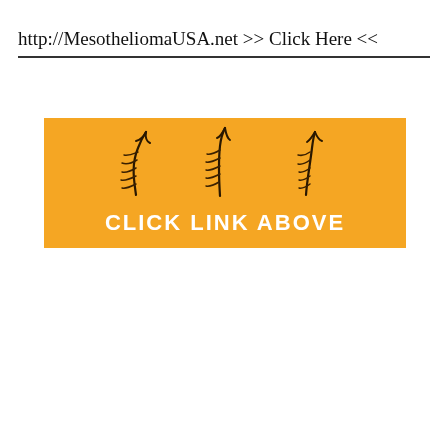http://MesotheliomaUSA.net >> Click Here <<
[Figure (infographic): Orange banner with three upward-pointing hand-drawn arrow illustrations and bold white text reading CLICK LINK ABOVE]